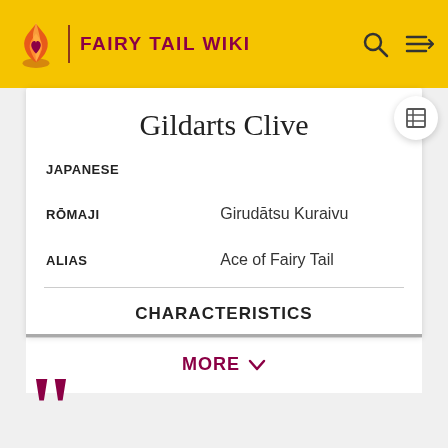FAIRY TAIL WIKI
Gildarts Clive
| Field | Value |
| --- | --- |
| JAPANESE |  |
| RŌMAJI | Girudātsu Kuraivu |
| ALIAS | Ace of Fairy Tail |
CHARACTERISTICS
MORE